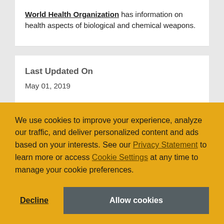World Health Organization has information on health aspects of biological and chemical weapons.
Last Updated On
May 01, 2019
We use cookies to improve your experience, analyze our traffic, and deliver personalized content and ads based on your interests. See our Privacy Statement to learn more or access Cookie Settings at any time to manage your cookie preferences.